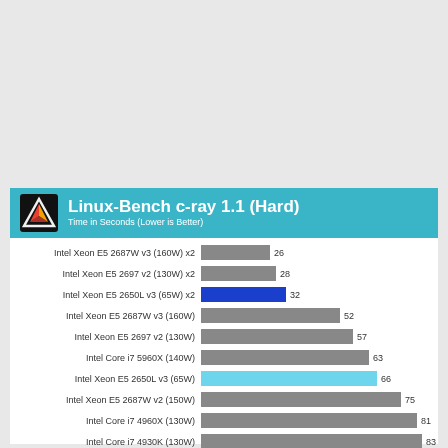[Figure (bar-chart): Linux-Bench c-ray 1.1 (Hard)]